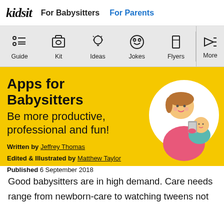kidsit | For Babysitters | For Parents
Guide | Kit | Ideas | Jokes | Flyers | More
Apps for Babysitters
Be more productive, professional and fun!
Written by Jeffrey Thomas
Edited & Illustrated by Matthew Taylor
Published 6 September 2018
[Figure (illustration): Circular illustration of a cartoon babysitter woman holding a baby and a smartphone]
Good babysitters are in high demand. Care needs range from newborn-care to watching tweens not ready to be on their own. You can be asked to babysit